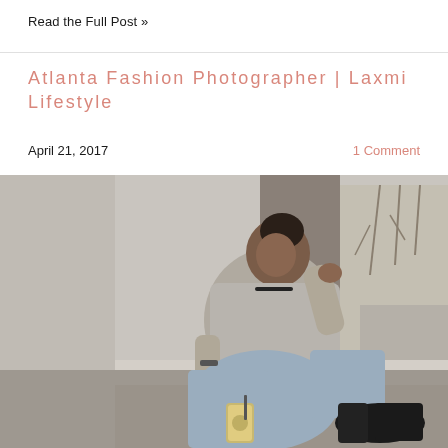Read the Full Post »
Atlanta Fashion Photographer | Laxmi Lifestyle
April 21, 2017
1 Comment
[Figure (photo): A young woman with dark hair in a bun sits on a brick sidewalk leaning against a concrete pillar, wearing a grey knit sweater, light blue jeans, and black ankle boots, holding a Starbucks iced drink. Trees and an urban outdoor setting are visible in the background.]